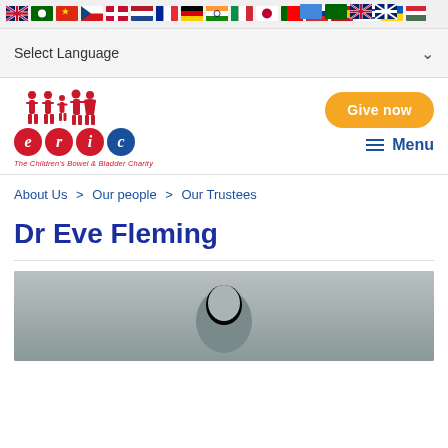[Flag bar with multiple country flags]
Select Language
[Figure (logo): ERIC - The Children's Bowel & Bladder Charity logo with red and blue circles and family figures]
Give now
Menu
About Us > Our people > Our Trustees
Dr Eve Fleming
[Figure (photo): Black and white portrait photo of Dr Eve Fleming, partially visible]